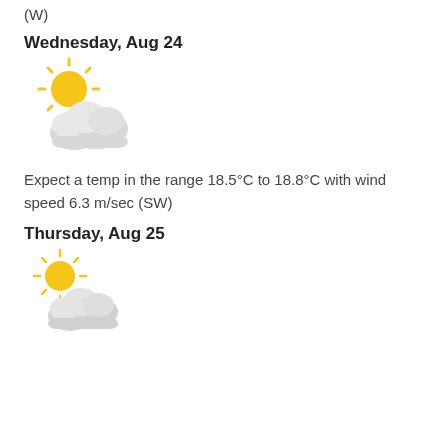(W)
Wednesday, Aug 24
[Figure (illustration): Partly cloudy weather icon: sun behind cloud, colored illustration]
Expect a temp in the range 18.5°C to 18.8°C with wind speed 6.3 m/sec (SW)
Thursday, Aug 25
[Figure (illustration): Partly cloudy weather icon: sun behind cloud, colored illustration]